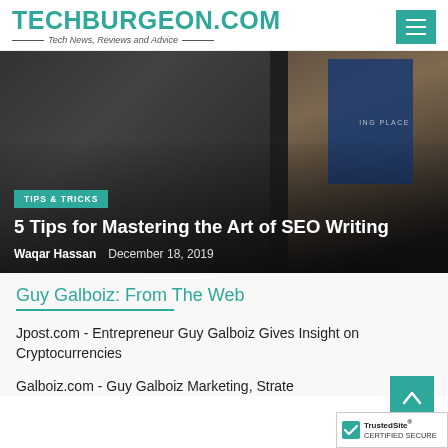TECHBURGEON.COM — Tech News, Reviews and Advice
[Figure (photo): Two people in a meeting room, one presenting at a whiteboard/sign, article hero image for '5 Tips for Mastering the Art of SEO Writing']
TIPS & TRICKS
5 Tips for Mastering the Art of SEO Writing
Waqar Hassan   December 18, 2019
Guy Galboiz: From The Web
Jpost.com - Entrepreneur Guy Galboiz Gives Insight on Cryptocurrencies
Galboiz.com - Guy Galboiz Marketing, Strate